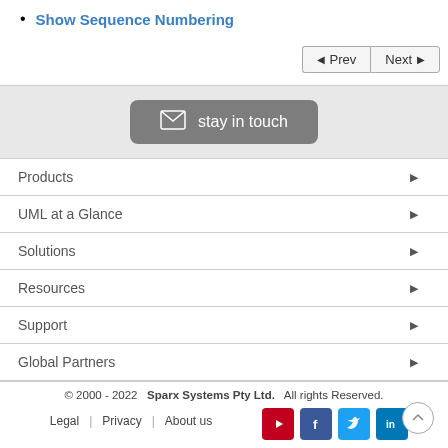Show Sequence Numbering
[Figure (other): Navigation buttons: Prev and Next]
[Figure (other): Stay in touch email subscription button]
Products
UML at a Glance
Solutions
Resources
Support
Global Partners
© 2000 - 2022  Sparx Systems Pty Ltd.  All rights Reserved.
Legal | Privacy | About us